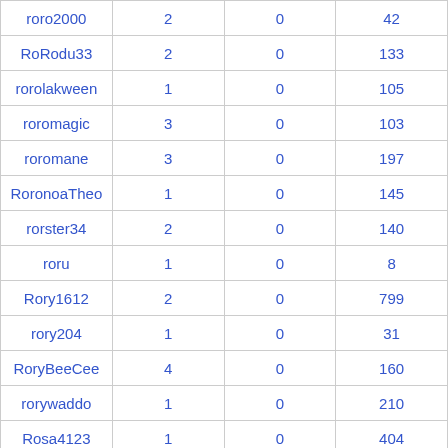| roro2000 | 2 | 0 | 42 |
| RoRodu33 | 2 | 0 | 133 |
| rorolakween | 1 | 0 | 105 |
| roromagic | 3 | 0 | 103 |
| roromane | 3 | 0 | 197 |
| RoronoaTheo | 1 | 0 | 145 |
| rorster34 | 2 | 0 | 140 |
| roru | 1 | 0 | 8 |
| Rory1612 | 2 | 0 | 799 |
| rory204 | 1 | 0 | 31 |
| RoryBeeCee | 4 | 0 | 160 |
| rorywaddo | 1 | 0 | 210 |
| Rosa4123 | 1 | 0 | 404 |
| rosadora | 1 | 0 | 1,690 |
| rosalietrigg | 3 | 0 | 36 |
| Rosane | 1 | 0 | 72 |
| rosataku | 1 | 0 | 67 |
| RoSaXEu | 1 | 0 | 158 |